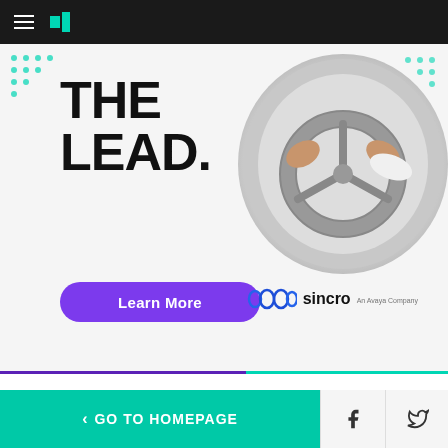HuffPost navigation bar with hamburger menu and logo
[Figure (illustration): Sincro advertisement banner with bold text 'THE LEAD.' and car steering wheel image, purple Learn More button, and Sincro An Avaya Company logo]
“Originally, there were just the Republicans in Congress who were for taking part in the Syrian conflict, and they may be able to push Trump to it as they did with Barack Obama,” Sergey Demidenko, an expert in Middle East studies and
< GO TO HOMEPAGE